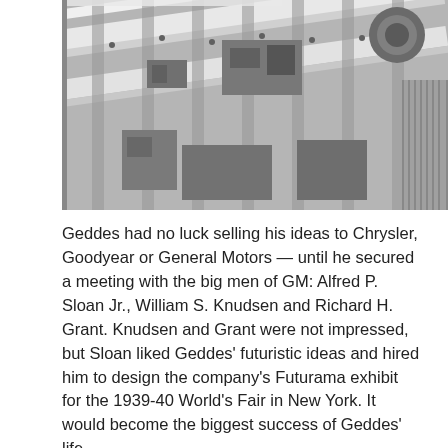[Figure (photo): Black and white photograph of industrial machinery, showing an overhead/angled view of what appears to be a manufacturing or assembly line with tracks, mechanical components, and various industrial equipment.]
Geddes had no luck selling his ideas to Chrysler, Goodyear or General Motors — until he secured a meeting with the big men of GM: Alfred P. Sloan Jr., William S. Knudsen and Richard H. Grant. Knudsen and Grant were not impressed, but Sloan liked Geddes' futuristic ideas and hired him to design the company's Futurama exhibit for the 1939-40 World's Fair in New York. It would become the biggest success of Geddes' life.
Originally given $2 million to built the exhibit, Geddes convinced GM to raise the budget to $7 million. He